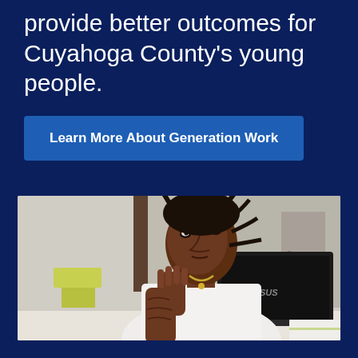provide better outcomes for Cuyahoga County's young people.
Learn More About Generation Work
[Figure (photo): A young Black man with dreadlocks wearing a white button-up shirt and gold chain sits at a white desk, resting his chin on his hand in a thoughtful pose, with an ASUS laptop open in front of him and a yellow-green chair visible in the background. A blue cable is visible on the desk.]